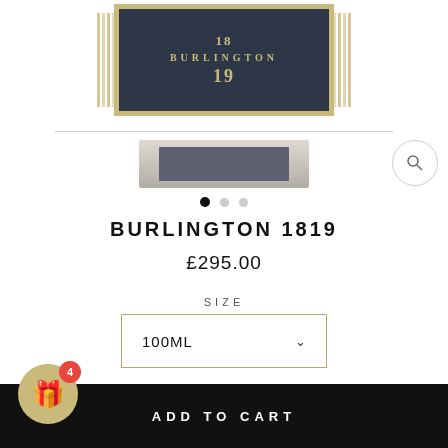[Figure (photo): Product image of Burlington 1819 perfume bottle label showing dark navy label with gold text reading '18 BURLINGTON 19', gold border and vertical gold lines on sides. Below is a thumbnail strip showing the side of the bottle.]
BURLINGTON 1819
£295.00
SIZE
100ML
ADD TO CART